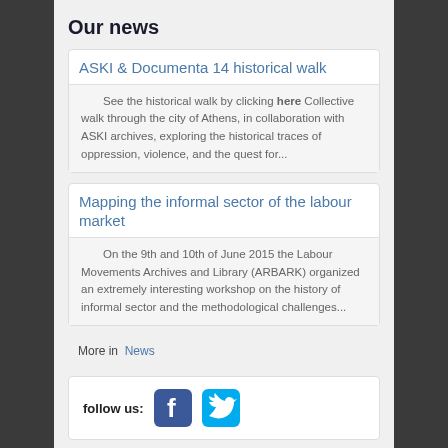Our news
ASKI & Documenta 14 historical walk
See the historical walk by clicking here Collective walk through the city of Athens, in collaboration with ASKI archives, exploring the historical traces of oppression, violence, and the quest for...
Mapping the informal sector of the labour market
On the 9th and 10th of June 2015 the Labour Movements Archives and Library (ARBARK) organized an extremely interesting workshop on the history of informal sector and the methodological challenges...
More in  News
[Figure (infographic): follow us: Facebook icon and Twitter icon]